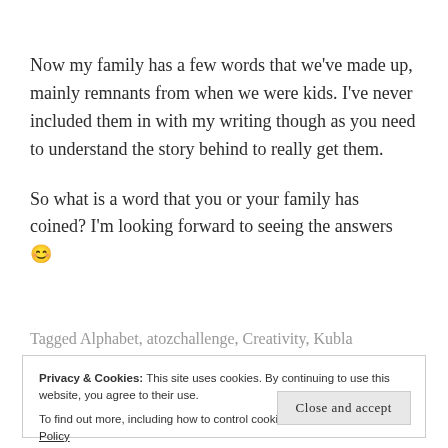Now my family has a few words that we've made up, mainly remnants from when we were kids. I've never included them in with my writing though as you need to understand the story behind to really get them.

So what is a word that you or your family has coined? I'm looking forward to seeing the answers 😊
Tagged Alphabet, atozchallenge, Creativity, Kubla
Privacy & Cookies: This site uses cookies. By continuing to use this website, you agree to their use.
To find out more, including how to control cookies, see here: Cookie Policy

Close and accept